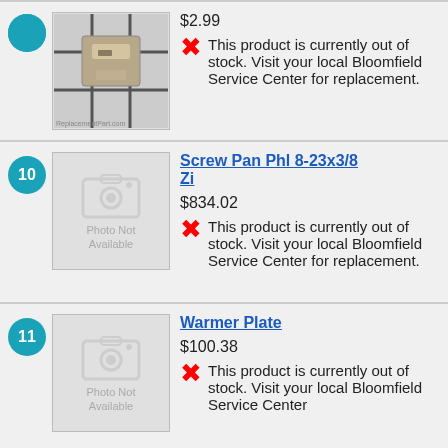[Figure (photo): Product image of a metal clip/screw part on black grid background]
$2.99
This product is currently out of stock. Visit your local Bloomfield Service Center for replacement.
Screw Pan Phl 8-23x3/8 Zi
[Figure (photo): Photo Not Available placeholder image]
$834.02
This product is currently out of stock. Visit your local Bloomfield Service Center for replacement.
Warmer Plate
[Figure (photo): Photo Not Available placeholder image]
$100.38
This product is currently out of stock. Visit your local Bloomfield Service Center for replacement.